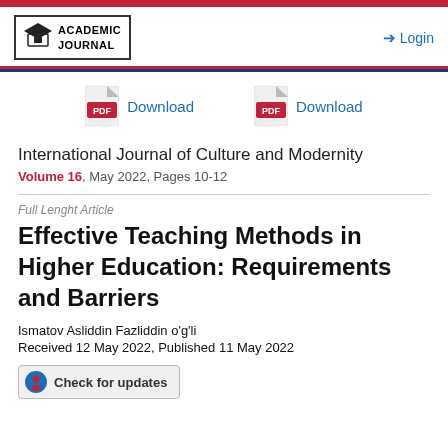Academic Journal — Login
[Figure (logo): Academic Journal logo with graduation cap icon]
[Figure (infographic): Two PDF download buttons side by side]
International Journal of Culture and Modernity
Volume 16, May 2022, Pages 10-12
Full Lenght Article
Effective Teaching Methods in Higher Education: Requirements and Barriers
Ismatov Asliddin Fazliddin o'g'li
Received 12 May 2022, Published 11 May 2022
[Figure (other): Check for updates badge button]